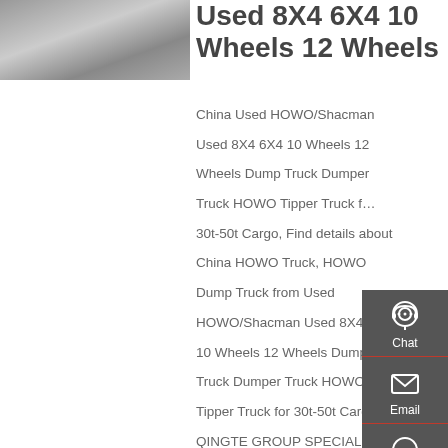[Figure (photo): Photo of a used dump truck, partially visible at top left]
Used 8X4 6X4 10 Wheels 12 Wheels
China Used HOWO/Shacman Used 8X4 6X4 10 Wheels 12 Wheels Dump Truck Dumper Truck HOWO Tipper Truck for 30t-50t Cargo, Find details about China HOWO Truck, HOWO Dump Truck from Used HOWO/Shacman Used 8X4 6X4 10 Wheels 12 Wheels Dump Truck Dumper Truck HOWO Tipper Truck for 30t-50t Cargo - QINGTE GROUP SPECIAL VEHICLES CO., LIMITED